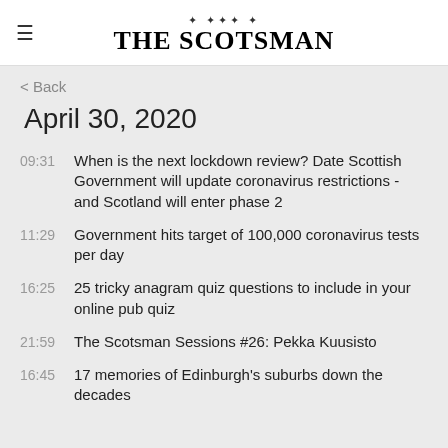THE SCOTSMAN
< Back
April 30, 2020
09:31 — When is the next lockdown review? Date Scottish Government will update coronavirus restrictions - and Scotland will enter phase 2
11:29 — Government hits target of 100,000 coronavirus tests per day
16:25 — 25 tricky anagram quiz questions to include in your online pub quiz
21:59 — The Scotsman Sessions #26: Pekka Kuusisto
16:45 — 17 memories of Edinburgh's suburbs down the decades